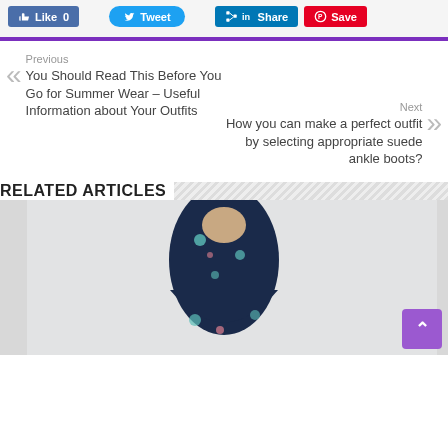[Figure (screenshot): Social sharing buttons: Facebook Like 0, Twitter Tweet, LinkedIn Share, Pinterest Save]
Previous
You Should Read This Before You Go for Summer Wear – Useful Information about Your Outfits
Next
How you can make a perfect outfit by selecting appropriate suede ankle boots?
RELATED ARTICLES
[Figure (photo): Woman wearing a floral navy dress]